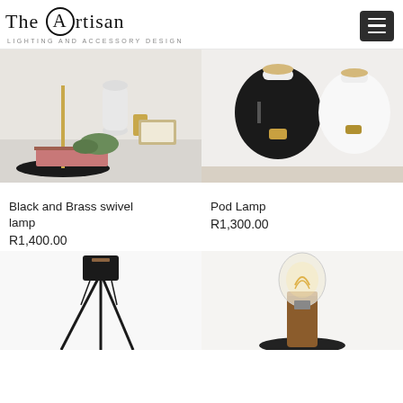The Artisan - LIGHTING AND ACCESSORY DESIGN
[Figure (photo): Black and brass swivel floor lamp on a black circular base, styled with a white vase, golden deer figurine, pink chevron tray, and green foliage on a white shelf background]
Black and Brass swivel lamp
R1,400.00
[Figure (photo): Two pod-shaped lamps — one black and one white — sitting on a white surface, showing the top lamp socket and a small brass key switch on each]
Pod Lamp
R1,300.00
[Figure (photo): Slim black tripod floor lamp with a small square shade, three crossed legs on a white background]
[Figure (photo): Edison bulb mounted on a round wooden cylinder base against a white wall, warm filament visible]